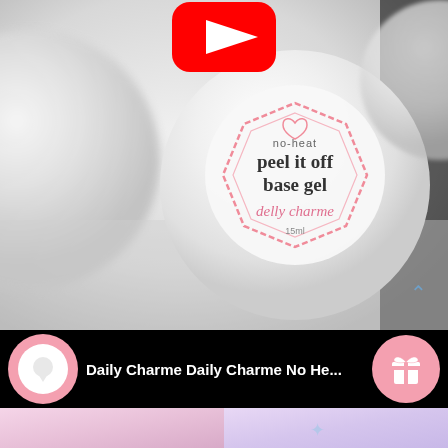[Figure (photo): Close-up photo of a Daily Charme 'no-heat peel it off base gel' nail product jar (15ml), white circular jar with pink decorative border and heart logo, shown on a white/gray surface. A YouTube play button overlay is visible at the top center.]
Daily Charme Daily Charme No He...
[Figure (photo): Bottom preview strip showing pink/purple nail art related imagery.]